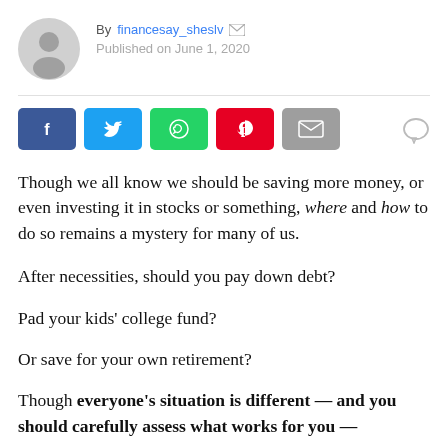By financesay_sheslv  Published on June 1, 2020
[Figure (infographic): Social sharing buttons: Facebook, Twitter, WhatsApp, Pinterest, Email, and a comment icon]
Though we all know we should be saving more money, or even investing it in stocks or something, where and how to do so remains a mystery for many of us.
After necessities, should you pay down debt?
Pad your kids’ college fund?
Or save for your own retirement?
Though everyone’s situation is different — and you should carefully assess what works for you —